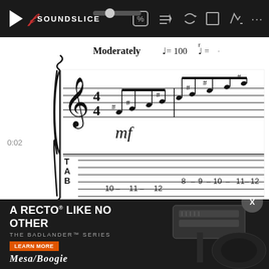[Figure (screenshot): Soundslice music notation player toolbar with play button, logo, volume slider, and playback controls on dark background]
[Figure (music-figure): Sheet music in 4/4 time marked Moderately at quarter=100, with treble clef notation showing a chromatic scale run with sharps, mf dynamic marking, and guitar TAB showing fret numbers 10-11-12 and 8-9-10-11-12]
0:02
Moderately ♩= 100
[Figure (music-figure): Second measure of sheet music continuing the chromatic scale pattern with sharps, above guitar tablature notation]
[Figure (advertisement): Mesa/Boogie Badlander Series amplifier advertisement: A RECTO LIKE NO OTHER - THE BADLANDER SERIES - LEARN MORE button - MESA/BOOGIE logo - image of amp head and guitar]